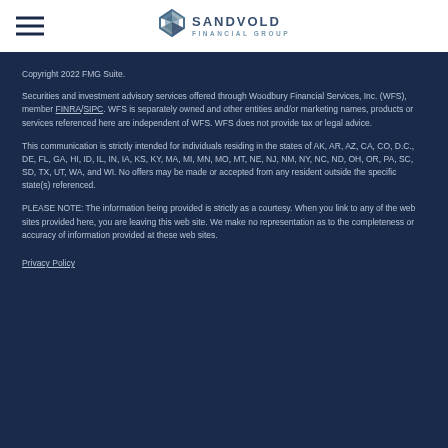Sandvold Financial Group
Copyright 2022 FMG Suite.
Securities and investment advisory services offered through Woodbury Financial Services, Inc. (WFS), member FINRA/SIPC. WFS is separately owned and other entities and/or marketing names, products or services referenced here are independent of WFS. WFS does not provide tax or legal advice.
This communication is strictly intended for individuals residing in the states of AK, AR, AZ, CA, CO, D.C., DE, FL, GA, HI, ID, IL, IN, IA, KS, KY, MA, MI, MN, MO, MT, NE, NJ, NM, NY, NC, ND, OH, OR, PA, SC, SD, TX, UT, WA, and WI. No offers may be made or accepted from any resident outside the specific state(s) referenced.
PLEASE NOTE: The information being provided is strictly as a courtesy. When you link to any of the web sites provided here, you are leaving this web site. We make no representation as to the completeness or accuracy of information provided at these web sites.
Privacy Policy